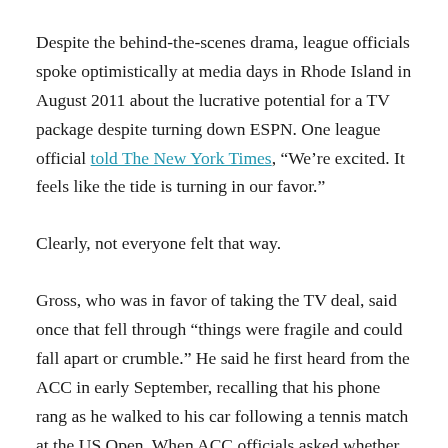Despite the behind-the-scenes drama, league officials spoke optimistically at media days in Rhode Island in August 2011 about the lucrative potential for a TV package despite turning down ESPN. One league official told The New York Times, “We’re excited. It feels like the tide is turning in our favor.”
Clearly, not everyone felt that way.
Gross, who was in favor of taking the TV deal, said once that fell through “things were fragile and could fall apart or crumble.” He said he first heard from the ACC in early September, recalling that his phone rang as he walked to his car following a tennis match at the US Open. When ACC officials asked whether Syracuse would be interested in joining, Gross said yes without hesitation.